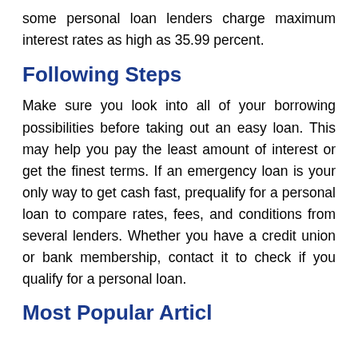some personal loan lenders charge maximum interest rates as high as 35.99 percent.
Following Steps
Make sure you look into all of your borrowing possibilities before taking out an easy loan. This may help you pay the least amount of interest or get the finest terms. If an emergency loan is your only way to get cash fast, prequalify for a personal loan to compare rates, fees, and conditions from several lenders. Whether you have a credit union or bank membership, contact it to check if you qualify for a personal loan.
Most Popular Articl…